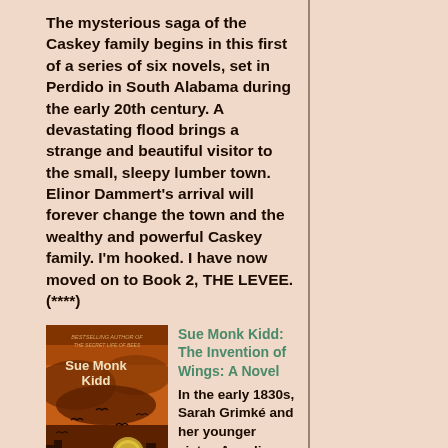The mysterious saga of the Caskey family begins in this first of a series of six novels, set in Perdido in South Alabama during the early 20th century. A devastating flood brings a strange and beautiful visitor to the small, sleepy lumber town. Elinor Dammert's arrival will forever change the town and the wealthy and powerful Caskey family. I'm hooked. I have now moved on to Book 2, THE LEVEE. (****)
[Figure (illustration): Book cover of 'The Invention of Wings' by Sue Monk Kidd, showing a dark orange/red sky with silhouettes, the author's name and book title displayed prominently]
Sue Monk Kidd: The Invention of Wings: A Novel
In the early 1830s, Sarah Grimké and her younger sister, Angelina, were the most infamous women in America. They had rebelled so vocally against their family, society, and their religion that they were reviled, pursued, and exiled from their